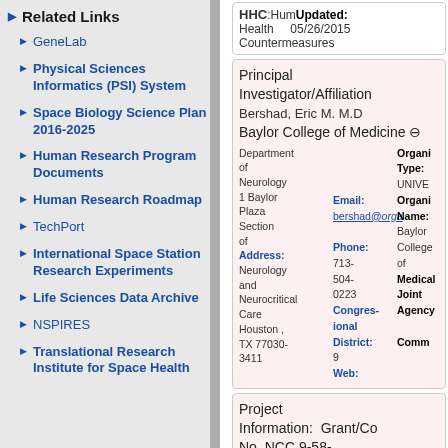Related Links
GeneLab
Physical Sciences Informatics (PSI) System
Space Biology Science Plan 2016-2025
Human Research Program Documents
Human Research Roadmap
TechPort
International Space Station Research Experiments
Life Sciences Data Archive
NSPIRES
Translational Research Institute for Space Health
HHC: Human Health Countermeasures  Updated: 05/26/2015
Principal Investigator/Affiliation
Bershad, Eric M. M.D
Baylor College of Medicine
Department of Neurology
1 Baylor Plaza
Section of Neurology and Neurocritical Care
Houston, TX 77030-3411
Email: bershad@...
Phone: 713-504-0223
Congressional District: 9
Web:
Organization Type: UNIVERSITY
Organization Name: Baylor College of Medicine
Joint Agency
Comments
Project Information: Grant/Contract No. NCC 9-58-SMST00008